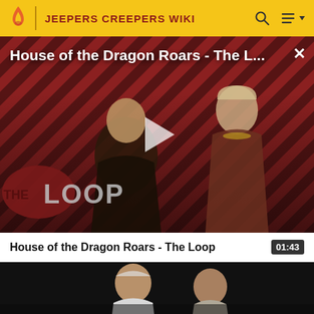JEEPERS CREEPERS WIKI
[Figure (screenshot): Video thumbnail for 'House of the Dragon Roars - The L...' showing two characters against a diagonal red and dark stripe background with THE LOOP logo overlay and a play button in the center]
House of the Dragon Roars - The Loop
01:43
[Figure (screenshot): Bottom video thumbnail showing two people, one in a white tank top and one in a light jacket, dark background]